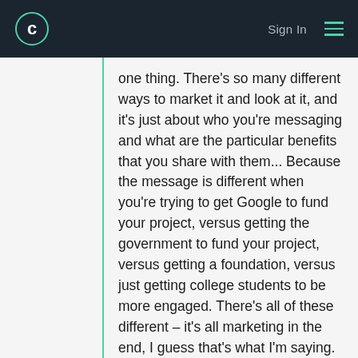Sign In [menu]
one thing. There's so many different ways to market it and look at it, and it's just about who you're messaging and what are the particular benefits that you share with them... Because the message is different when you're trying to get Google to fund your project, versus getting the government to fund your project, versus getting a foundation, versus just getting college students to be more engaged. There's all of these different – it's all marketing in the end, I guess that's what I'm saying.
CHRISTOPHER HILLER
Exactly.